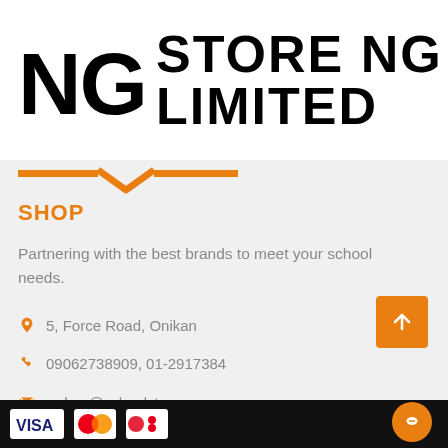NG STORE NG LIMITED
[Figure (logo): School Store NG Limited logo with orange chevron divider]
SHOP
Partnering with the best brands to meet your school needs.
5, Force Road, Onikan
09062738909,  01-2917384
orders@schoolstoreng.com
Footer with payment logos and chat button